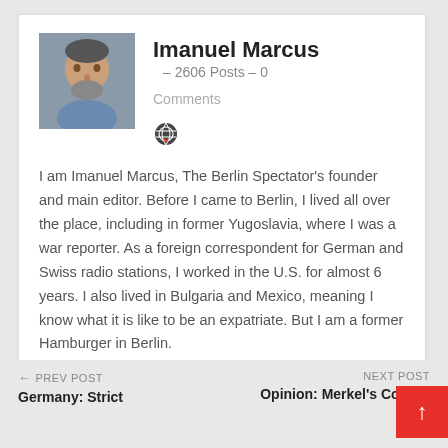[Figure (photo): Profile photo of Imanuel Marcus, a middle-aged man with short hair and a beard, wearing a blue shirt, seated in what appears to be a vehicle]
Imanuel Marcus
2606 Posts  -  0
Comments
[Figure (logo): Globe/heart icon]
I am Imanuel Marcus, The Berlin Spectator's founder and main editor. Before I came to Berlin, I lived all over the place, including in former Yugoslavia, where I was a war reporter. As a foreign correspondent for German and Swiss radio stations, I worked in the U.S. for almost 6 years. I also lived in Bulgaria and Mexico, meaning I know what it is like to be an expatriate. But I am a former Hamburger in Berlin.
Contact me here: imanuelmarcus (at) gmail.com
← PREV POST   Germany: Strict   NEXT POST   Opinion: Merkel's Corona